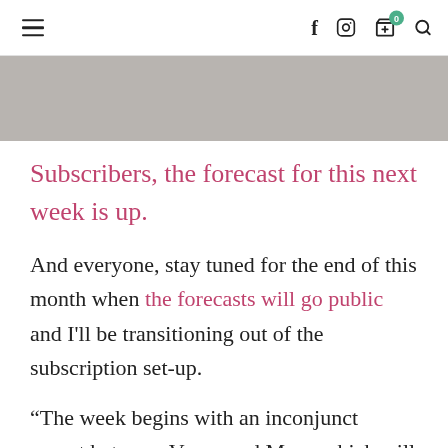≡  f  [instagram]  [cart 0]  [search]
[Figure (photo): Gray/taupe hero image banner at top of article]
Subscribers, the forecast for this next week is up.
And everyone, stay tuned for the end of this month when the forecasts will go public and I'll be transitioning out of the subscription set-up.
“The week begins with an inconjunct aspect between Venus and Mars, which will relate